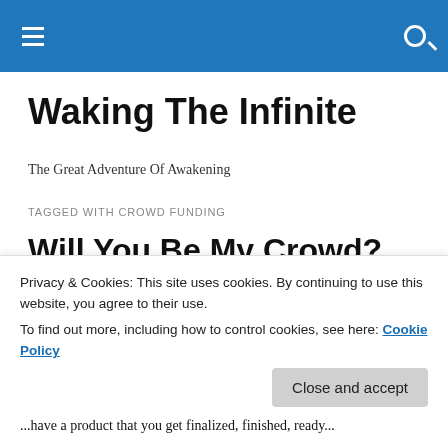Waking The Infinite [site header bar]
Waking The Infinite
The Great Adventure Of Awakening
TAGGED WITH CROWD FUNDING
Will You Be My Crowd?
This past week was the culmination of a years-old effort in
Privacy & Cookies: This site uses cookies. By continuing to use this website, you agree to their use.
To find out more, including how to control cookies, see here: Cookie Policy
Close and accept
...have a product that you get finalized, finished, ready...